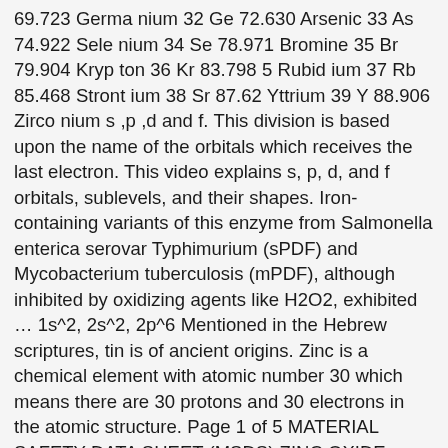69.723 Germanium 32 Ge 72.630 Arsenic 33 As 74.922 Selenium 34 Se 78.971 Bromine 35 Br 79.904 Krypton 36 Kr 83.798 5 Rubidium 37 Rb 85.468 Strontium 38 Sr 87.62 Yttrium 39 Y 88.906 Zirconium s ,p ,d and f. This division is based upon the name of the orbitals which receives the last electron. This video explains s, p, d, and f orbitals, sublevels, and their shapes. Iron-containing variants of this enzyme from Salmonella enterica serovar Typhimurium (sPDF) and Mycobacterium tuberculosis (mPDF), although inhibited by oxidizing agents like H2O2, exhibited … 1s^2, 2s^2, 2p^6 Mentioned in the Hebrew scriptures, tin is of ancient origins. Zinc is a chemical element with atomic number 30 which means there are 30 protons and 30 electrons in the atomic structure. Page 1 of 5 MATERIAL SAFETY DATA SHEET (MSDS) ZINC OXIDE SECTION 1 - PRODUCER & SUPPLIERS DETAILS Manufacturer & Supplier: NUMINOR CHEMICAL … Thus, it can be understood that the 1p, 2d, and 3f orbitals do not exist because the value of the azimuthal quantum number is always less than that of the principal quantum